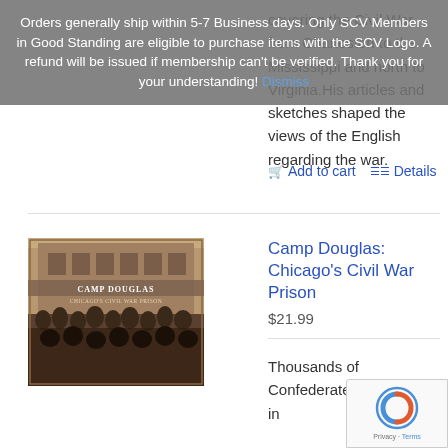Orders generally ship within 5-7 Business days. Only SCV Members in Good Standing are eligible to purchase items with the SCV Logo. A refund will be issued if membership can't be verified. Thank you for your understanding! Dismiss
covering the Civil War from Charleston to the Mississippi and north to Virginia.His articles and sketches shaped the views of the English regarding the war.
Add to cart  Details
[Figure (photo): Book cover of 'Camp Douglas: Chicago's Civil War Prison' showing historical black and white photo of Confederate prisoners]
Camp Douglas: Chicago's Civil War Prison
$21.99
Thousands of Confederate soldiers died in